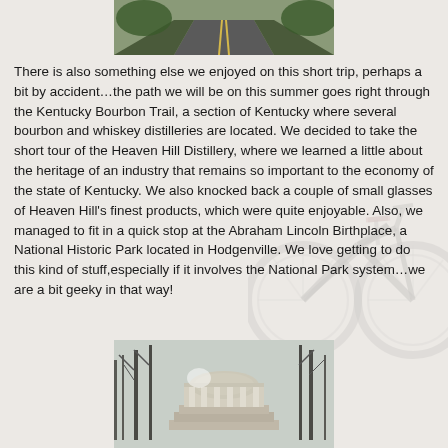[Figure (photo): Top portion of a road with yellow center lines, green trees on sides, viewed from driving perspective]
There is also something else we enjoyed on this short trip, perhaps a bit by accident…the path we will be on this summer goes right through the Kentucky Bourbon Trail, a section of Kentucky where several bourbon and whiskey distilleries are located. We decided to take the short tour of the Heaven Hill Distillery, where we learned a little about the heritage of an industry that remains so important to the economy of the state of Kentucky. We also knocked back a couple of small glasses of Heaven Hill's finest products, which were quite enjoyable. Also, we managed to fit in a quick stop at the Abraham Lincoln Birthplace, a National Historic Park located in Hodgenville. We love getting to do this kind of stuff,especially if it involves the National Park system…we are a bit geeky in that way!
[Figure (photo): Abraham Lincoln Birthplace National Historic Park building, a classical memorial structure surrounded by bare winter trees]